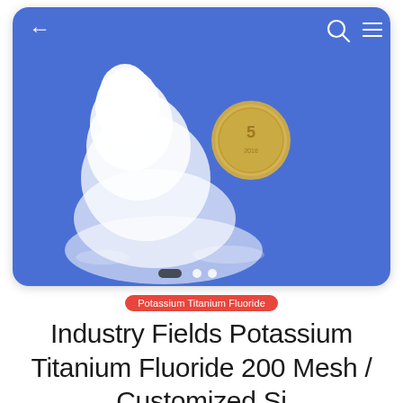[Figure (photo): Mobile app product detail page screenshot showing a pile of white powder (Potassium Titanium Fluoride) next to a gold coin, on a blue background, with navigation bar at top with back arrow, search and menu icons, and carousel dots at the bottom.]
Potassium Titanium Fluoride
Industry Fields Potassium Titanium Fluoride 200 Mesh / Customized Si